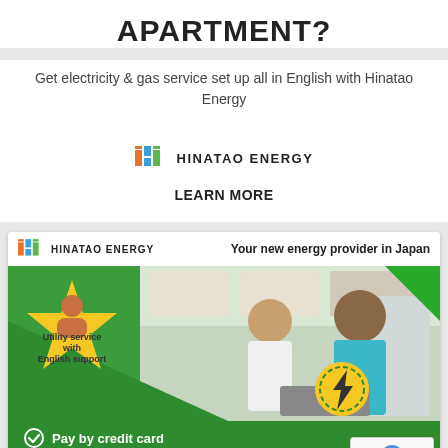APARTMENT?
Get electricity & gas service set up all in English with Hinatao Energy
[Figure (logo): Hinatao Energy logo with colored bar icon and text 'HINATAO ENERGY']
LEARN MORE
[Figure (infographic): Hinatao Energy advertisement banner. Header shows logo and tagline 'Your new energy provider in Japan'. Below is a photo of two people looking at a laptop in a kitchen, overlaid on a green background. A yellow starburst badge reads 'Utility service with English support'. Checklist items: 'Pay by credit card', 'Electricity and/or gas'. Green triangular design elements. reCAPTCHA badge in bottom right corner with 'Privacy · Terms'.]